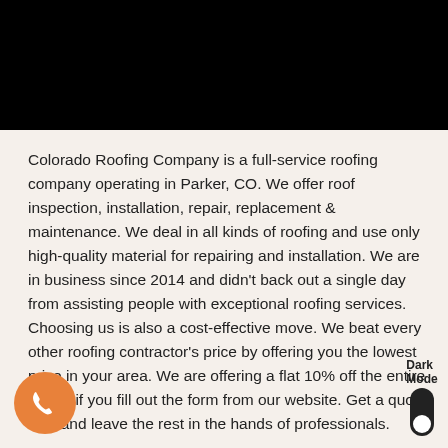[Figure (other): Black header bar at top of page]
Colorado Roofing Company is a full-service roofing company operating in Parker, CO. We offer roof inspection, installation, repair, replacement & maintenance. We deal in all kinds of roofing and use only high-quality material for repairing and installation. We are in business since 2014 and didn't back out a single day from assisting people with exceptional roofing services. Choosing us is also a cost-effective move. We beat every other roofing contractor's price by offering you the lowest price in your area. We are offering a flat 10% off the entire month if you fill out the form from our website. Get a quote now and leave the rest in the hands of professionals.